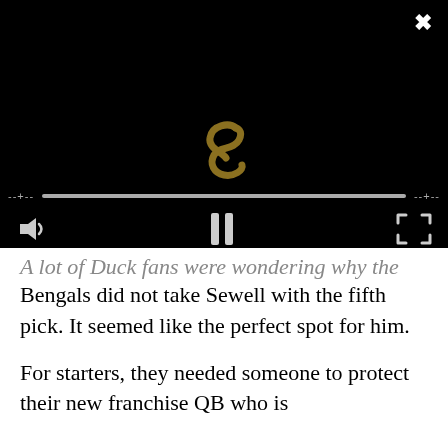[Figure (screenshot): Video player with black background, an 'S' watermark logo in gold/brown color in the center, a progress/scrubber bar across the middle, and playback controls at the bottom including a volume icon on the left, a pause button in the center, and a fullscreen icon on the right. An X close button is in the top-right corner.]
A lot of Duck fans were wondering why the Bengals did not take Sewell with the fifth pick. It seemed like the perfect spot for him.
For starters, they needed someone to protect their new franchise QB who is